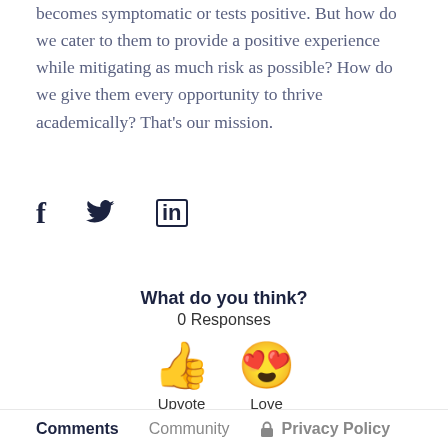becomes symptomatic or tests positive. But how do we cater to them to provide a positive experience while mitigating as much risk as possible? How do we give them every opportunity to thrive academically? That's our mission.
[Figure (other): Social sharing icons: Facebook (f), Twitter (bird), LinkedIn (in)]
What do you think?
0 Responses
[Figure (other): Reaction emoji icons: thumbs up (Upvote) and heart-eyes face (Love)]
Comments   Community   Privacy Policy